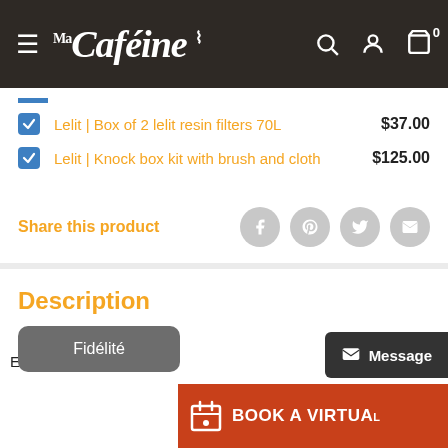Ma Caféine
Lelit | Box of 2 lelit resin filters 70L  $37.00
Lelit | Knock box kit with brush and cloth  $125.00
Share this product
Description
Fidélité
BOOK A VIRTUAL
Message
English